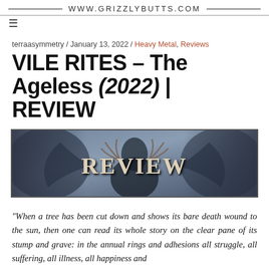WWW.GRIZZLYBUTTS.COM
terraasymmetry / January 13, 2022 / Heavy Metal, Reviews
VILE RITES – The Ageless (2022) | REVIEW
[Figure (illustration): A wide banner image with a dark fantasy/metal art background in blue-grey tones showing a skeletal or monstrous figure, with a decorative gothic font text reading 'REVIEW' overlaid in the center.]
“When a tree has been cut down and shows its bare death wound to the sun, then one can read its whole story on the clear pane of its stump and grave: in the annual rings and adhesions all struggle, all suffering, all illness, all happiness and